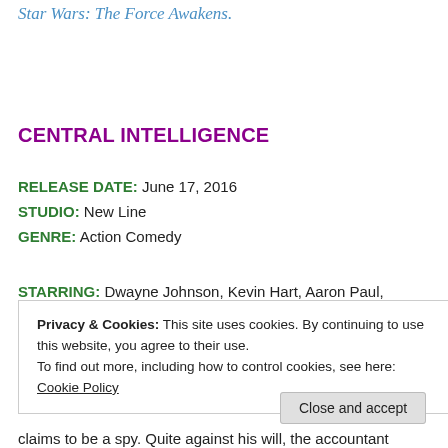Star Wars: The Force Awakens.
CENTRAL INTELLIGENCE
RELEASE DATE: June 17, 2016
STUDIO: New Line
GENRE: Action Comedy
STARRING: Dwayne Johnson, Kevin Hart, Aaron Paul, Amy Ryan, Megan Park, Danielle Nicolet, Slaine, Ryan
Privacy & Cookies: This site uses cookies. By continuing to use this website, you agree to their use. To find out more, including how to control cookies, see here: Cookie Policy
Close and accept
claims to be a spy. Quite against his will, the accountant